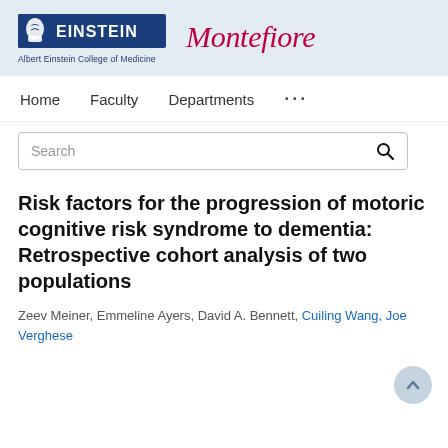[Figure (logo): Albert Einstein College of Medicine and Montefiore institutional logos on a light blue banner]
Home   Faculty   Departments   ...
[Figure (screenshot): Search bar with placeholder text 'Search' and a magnifying glass icon]
Risk factors for the progression of motoric cognitive risk syndrome to dementia: Retrospective cohort analysis of two populations
Zeev Meiner, Emmeline Ayers, David A. Bennett, Cuiling Wang, Joe Verghese